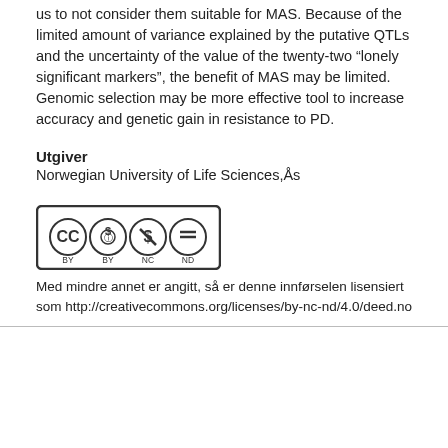us to not consider them suitable for MAS. Because of the limited amount of variance explained by the putative QTLs and the uncertainty of the value of the twenty-two “lonely significant markers”, the benefit of MAS may be limited. Genomic selection may be more effective tool to increase accuracy and genetic gain in resistance to PD.
Utgiver
Norwegian University of Life Sciences, Ås
[Figure (logo): Creative Commons BY NC ND license logo]
Med mindre annet er angitt, så er denne innførselen lisensiert som http://creativecommons.org/licenses/by-nc-nd/4.0/deed.no
Kontakt oss | Gi tilbakemelding | DSpace software copyright © 2002-2019 | Personvernerklæring | DuraSpace | Levert av UNIT